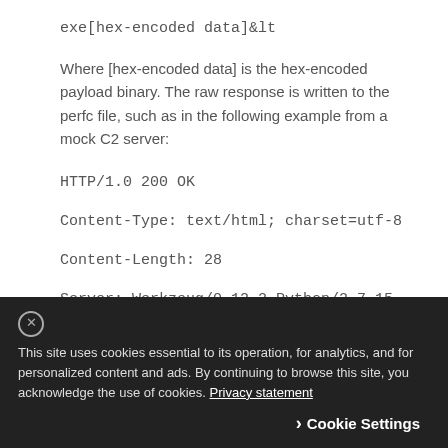exe[hex-encoded data]&lt
Where [hex-encoded data] is the hex-encoded payload binary. The raw response is written to the perfc file, such as in the following example from a mock C2 server:
HTTP/1.0 200 OK
Content-Type: text/html; charset=utf-8
Content-Length: 28
Server: Werkzeug/0.12.2 Python/2.7.15
This site uses cookies essential to its operation, for analytics, and for personalized content and ads. By continuing to browse this site, you acknowledge the use of cookies. Privacy statement
› Cookie Settings